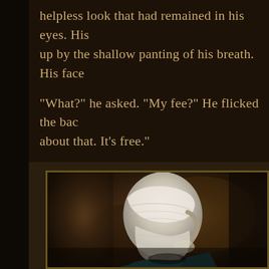helpless look that had remained in his eyes. His up by the shallow panting of his breath. His face
“What?” he asked. “My fee?” He flicked the bac about that. It’s free.”
[Figure (illustration): A painting or in-game screenshot showing a figure with head wrapped in white bandages, viewed from behind/side profile, wearing a teal garment, set against a dark warm-toned background with a gold-framed border.]